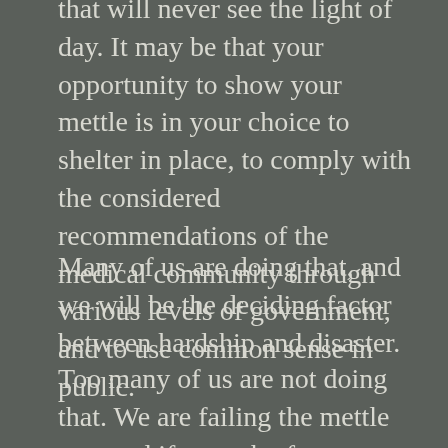that will never see the light of day. It may be that your opportunity to show your mettle is in your choice to shelter in place, to comply with the considered recommendations of the medical community through various levels of government, and to use common sense in public.
Many of us are doing that, and we will be the deciding factor between hardship and disaster.
Too many of us are not doing that. We are failing the mettle test, and if enough of us continue to fail, then disaster is inevitable.
Of course we are human and fallible, and history has demonstrated that when it comes to mettle, not everyone makes the cut, but the outcome of difficult